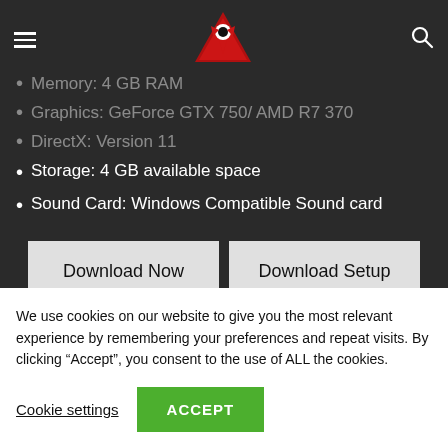Navigation bar with hamburger menu, Reaper logo, and search icon
Memory: 4 GB RAM
Graphics: GeForce GTX 750/ AMD R7 370
DirectX: Version 11
Storage: 4 GB available space
Sound Card: Windows Compatible Sound card
Download Now
Download Setup
#Simulation Games
We use cookies on our website to give you the most relevant experience by remembering your preferences and repeat visits. By clicking “Accept”, you consent to the use of ALL the cookies.
Cookie settings
ACCEPT